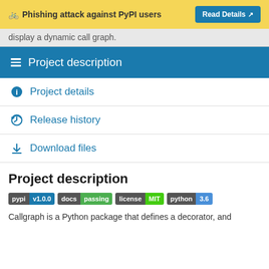🚲 Phishing attack against PyPI users  Read Details
display a dynamic call graph.
Project description
Project details
Release history
Download files
Project description
[Figure (infographic): Badges: pypi v1.0.0, docs passing, license MIT, python 3.6]
Callgraph is a Python package that defines a decorator, and